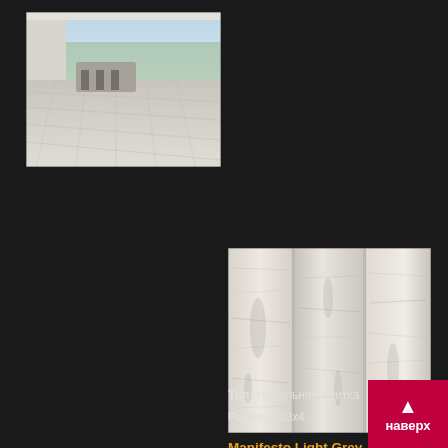[Figure (photo): Interior room photo showing light grey floor tiles in a modern kitchen/dining area with large windows]
[Figure (photo): Close-up texture photo of Manifesto Light Grey floor tile showing distressed wood-look pattern with grey and white tones]
Manifesto Light Grey
Тип: Напольная плитка
Размер: 43х4